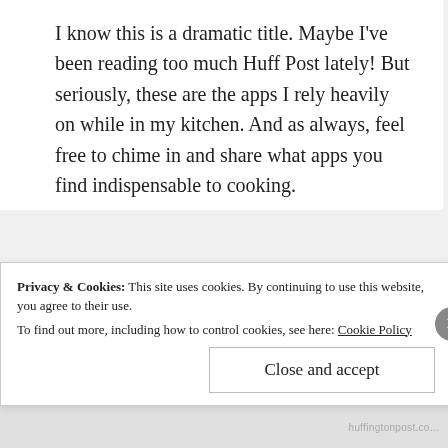I know this is a dramatic title. Maybe I've been reading too much Huff Post lately! But seriously, these are the apps I rely heavily on while in my kitchen. And as always, feel free to chime in and share what apps you find indispensable to cooking.
[Figure (photo): iOS camera app icon — rounded square with gradient silver/black background, stylized black camera body with circular lens and small yellow dot]
Privacy & Cookies: This site uses cookies. By continuing to use this website, you agree to their use.
To find out more, including how to control cookies, see here: Cookie Policy
Close and accept